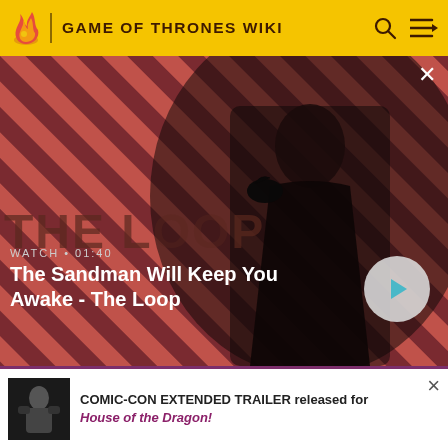GAME OF THRONES WIKI
[Figure (screenshot): Video thumbnail showing a dark figure with a raven on shoulder against a red diagonal striped background. Text overlay: WATCH • 01:40, The Sandman Will Keep You Awake - The Loop. Play button visible.]
[Figure (illustration): Dark grey circular thumbnail with green dragon silhouette]
opening credits.
[Figure (photo): Small dark thumbnail image of a character]
COMIC-CON EXTENDED TRAILER released for House of the Dragon!